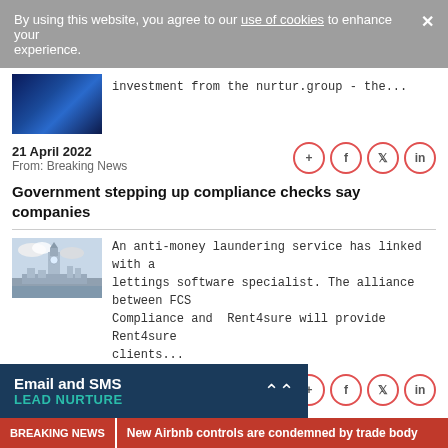By using this website, you agree to our use of cookies to enhance your experience.
[Figure (photo): Blue tech/concert stage lighting photo thumbnail]
investment from the nurtur.group - the...
21 April 2022
From: Breaking News
Government stepping up compliance checks say companies
[Figure (photo): Photo of Big Ben and Houses of Parliament in London]
An anti-money laundering service has linked with a lettings software specialist. The alliance between FCS Compliance and Rent4sure will provide Rent4sure clients...
09 March 2022
From: Breaking News
Email and SMS
LEAD NURTURE
BREAKING NEWS  New Airbnb controls are condemned by trade body